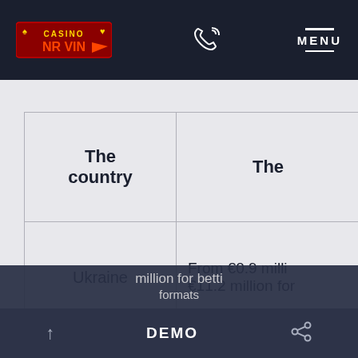Casino [logo] | Phone icon | MENU
| The country | The |
| --- | --- |
| Ukraine | From €0.9 milli €11.2 million for |
| Greece | €2 million for o million for betti |
↑   DEMO   < (share icon) | million for betti formats